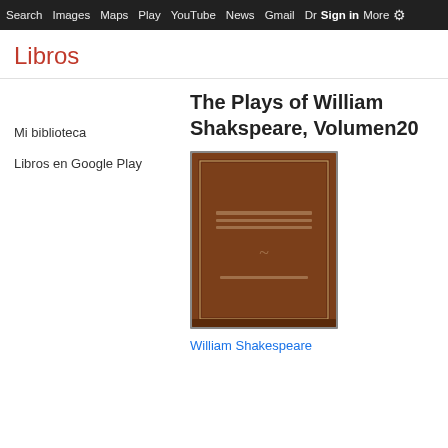Search  Images  Maps  Play  YouTube  News  Gmail  Dr  Sign in  More  ⚙
Libros
Mi biblioteca
Libros en Google Play
The Plays of William Shakspeare, Volumen20
[Figure (photo): Book cover of The Plays of William Shakspeare, Volume 20 — brown leather-bound book with decorative lines and emblem on cover]
William Shakespeare